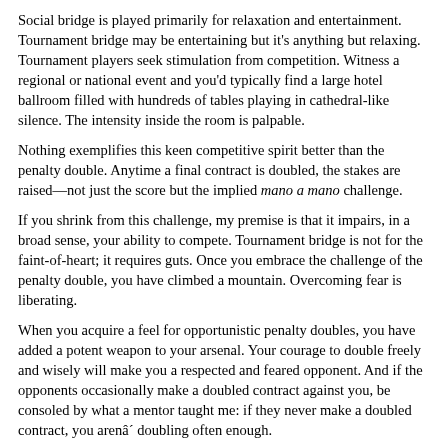Social bridge is played primarily for relaxation and entertainment. Tournament bridge may be entertaining but it's anything but relaxing. Tournament players seek stimulation from competition. Witness a regional or national event and you'd typically find a large hotel ballroom filled with hundreds of tables playing in cathedral-like silence. The intensity inside the room is palpable.
Nothing exemplifies this keen competitive spirit better than the penalty double. Anytime a final contract is doubled, the stakes are raised—not just the score but the implied mano a mano challenge.
If you shrink from this challenge, my premise is that it impairs, in a broad sense, your ability to compete. Tournament bridge is not for the faint-of-heart; it requires guts. Once you embrace the challenge of the penalty double, you have climbed a mountain. Overcoming fear is liberating.
When you acquire a feel for opportunistic penalty doubles, you have added a potent weapon to your arsenal. Your courage to double freely and wisely will make you a respected and feared opponent. And if the opponents occasionally make a doubled contract against you, be consoled by what a mentor taught me: if they never make a doubled contract, you arenâ´ doubling often enough.
About the Author | Contents
CATALOG HOME | CONTACT US